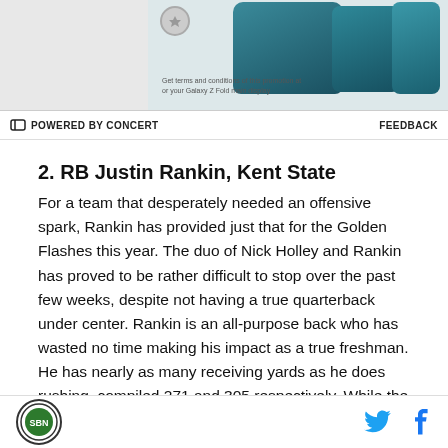[Figure (other): Advertisement banner showing Samsung Galaxy Z Fold smartphone devices on a gray background with small text: 'Get terms and conditions of this promotion at is your Galaxy Z Fold main display']
POWERED BY CONCERT   FEEDBACK
2. RB Justin Rankin, Kent State
For a team that desperately needed an offensive spark, Rankin has provided just that for the Golden Flashes this year. The duo of Nick Holley and Rankin has proved to be rather difficult to stop over the past few weeks, despite not having a true quarterback under center. Rankin is an all-purpose back who has wasted no time making his impact as a true freshman. He has nearly as many receiving yards as he does rushing, compiled 271 and 305 respectively. While the
Logo | Twitter | Facebook